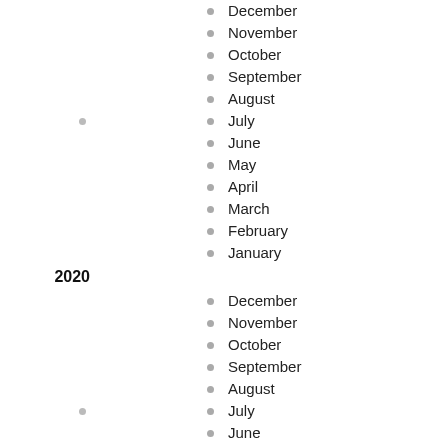December
November
October
September
August
July
June
May
April
March
February
January
2020
December
November
October
September
August
July
June
May
April
March
February